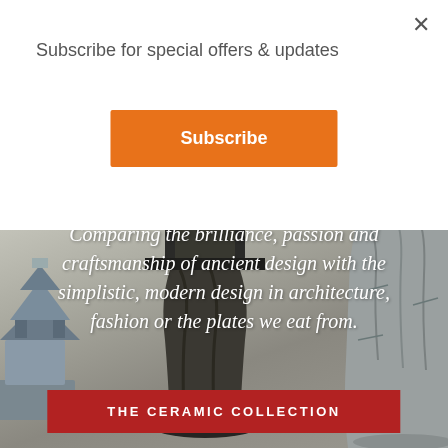×
Subscribe for special offers & updates
Subscribe
[Figure (photo): Photo of ceramic sculptures on a light grey background. Three sculptural ceramic pieces are visible: on the left, a blue-grey pagoda-like structure; in the center, a dark bronze/black tree-trunk form with a square platform on top; on the right, a grey textured column-like sculpture. A red horizontal banner reads 'THE CERAMIC COLLECTION' overlaid at the bottom. Italic white text overlay reads: 'Comparing the brilliance, passion and craftsmanship of ancient design with the simplistic, modern design in architecture, fashion or the plates we eat from.']
THE CERAMIC COLLECTION